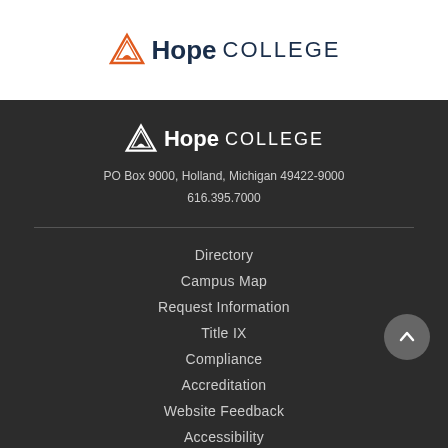[Figure (logo): Hope College logo with orange triangle/mountain icon and text 'Hope COLLEGE' in dark navy]
[Figure (logo): Hope College logo in white on dark background with text 'Hope COLLEGE']
PO Box 9000, Holland, Michigan 49422-9000
616.395.7000
Directory
Campus Map
Request Information
Title IX
Compliance
Accreditation
Website Feedback
Accessibility